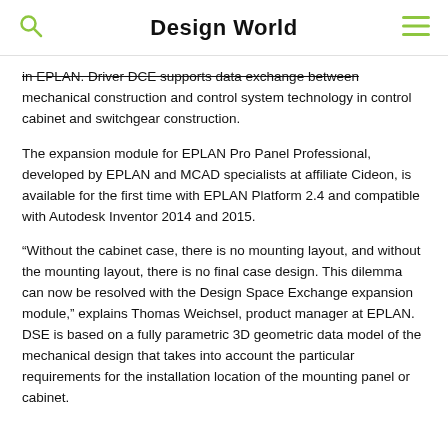Design World
in EPLAN. Driver DCE supports data exchange between mechanical construction and control system technology in control cabinet and switchgear construction.
The expansion module for EPLAN Pro Panel Professional, developed by EPLAN and MCAD specialists at affiliate Cideon, is available for the first time with EPLAN Platform 2.4 and compatible with Autodesk Inventor 2014 and 2015.
“Without the cabinet case, there is no mounting layout, and without the mounting layout, there is no final case design. This dilemma can now be resolved with the Design Space Exchange expansion module,” explains Thomas Weichsel, product manager at EPLAN. DSE is based on a fully parametric 3D geometric data model of the mechanical design that takes into account the particular requirements for the installation location of the mounting panel or cabinet.